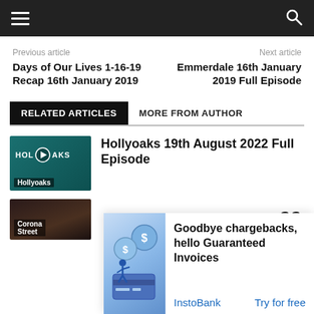≡  🔍
Previous article
Days of Our Lives 1-16-19 Recap 16th January 2019
Next article
Emmerdale 16th January 2019 Full Episode
RELATED ARTICLES   MORE FROM AUTHOR
[Figure (screenshot): Hollyoaks TV show thumbnail with play button icon and 'Hollyoaks' label]
Hollyoaks 19th August 2022 Full Episode
[Figure (screenshot): Coronation Street partial thumbnail with 'Corona Street' label]
[Figure (illustration): InstoBank ad illustration showing coins and a person with credit card]
Goodbye chargebacks, hello Guaranteed Invoices
InstoBank    Try for free